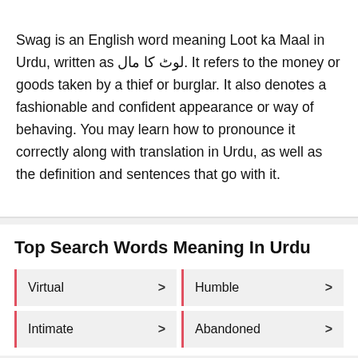Swag is an English word meaning Loot ka Maal in Urdu, written as لوٹ کا مال. It refers to the money or goods taken by a thief or burglar. It also denotes a fashionable and confident appearance or way of behaving. You may learn how to pronounce it correctly along with translation in Urdu, as well as the definition and sentences that go with it.
Top Search Words Meaning In Urdu
Virtual >
Humble >
Intimate >
Abandoned >